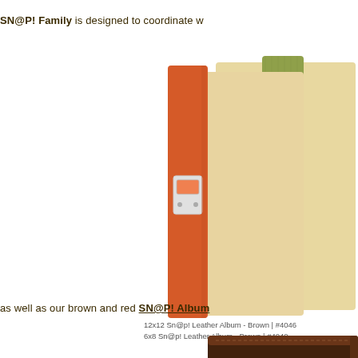SN@P! Family is designed to coordinate w
[Figure (photo): Two binders/albums shown standing upright at an angle – one with orange spine and natural/tan body, another with olive green spine and tan body, both with metal label holder on spine]
as well as our brown and red SN@P! Album
12x12 Sn@p! Leather Album - Brown | #4046
6x8 Sn@p! Leather Album - Brown | #4040
[Figure (photo): Brown leather album shown slightly open at bottom of page, with decorative stitching and metal label holder on the spine]